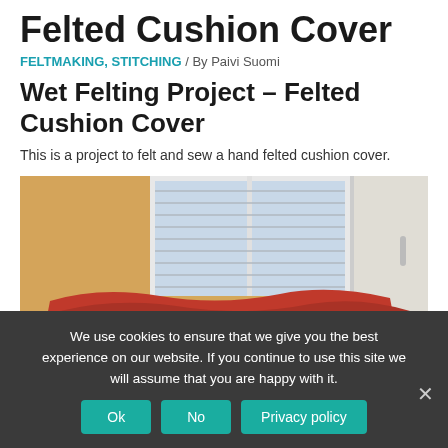Felted Cushion Cover
FELTMAKING, STITCHING / By Paivi Suomi
Wet Felting Project – Felted Cushion Cover
This is a project to felt and sew a hand felted cushion cover.
[Figure (photo): Photo of red felted fabric near a window with blinds, in a room with cream walls]
We use cookies to ensure that we give you the best experience on our website. If you continue to use this site we will assume that you are happy with it.